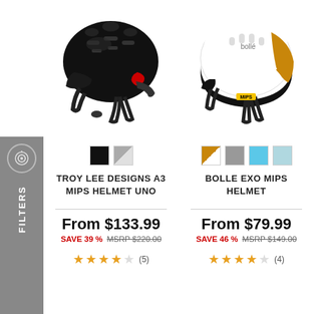[Figure (photo): Black mountain bike helmet - Troy Lee Designs A3 MIPS, left side view]
[Figure (photo): White and gold road bike helmet - Bolle EXO MIPS, right side view]
TROY LEE DESIGNS A3 MIPS HELMET UNO
BOLLE EXO MIPS HELMET
From $133.99
SAVE 39 %  MSRP $220.00
From $79.99
SAVE 46 %  MSRP $149.00
(5)
(4)